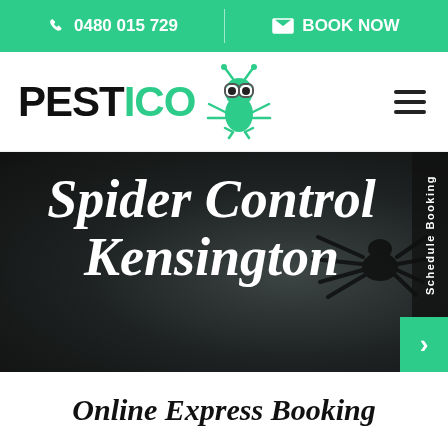0480 015 729 | BOOK NOW
[Figure (logo): PESTICO pest control logo with cartoon green insect mascot wearing glasses]
Spider Control Kensington
Schedule Booking
Online Express Booking